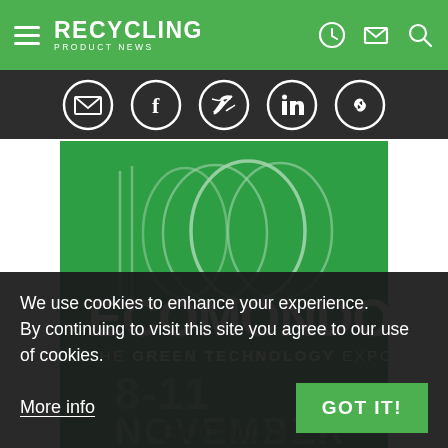RECYCLING PRODUCT NEWS
[Figure (logo): Social share icons: email, facebook, twitter, linkedin, link]
[Figure (illustration): Ecomondo The Green Technology Expo logo on green background with overlapping rings, dates 8-11 November]
We use cookies to enhance your experience. By continuing to visit this site you agree to our use of cookies.
More info
GOT IT!